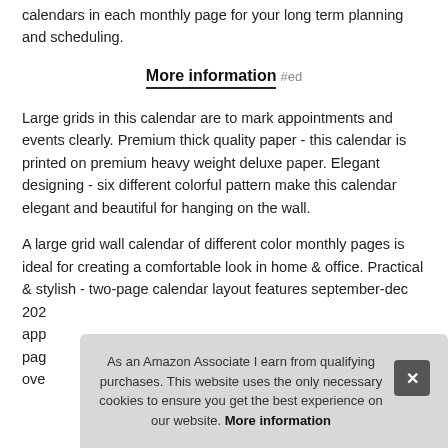calendars in each monthly page for your long term planning and scheduling.
More information #ed
Large grids in this calendar are to mark appointments and events clearly. Premium thick quality paper - this calendar is printed on premium heavy weight deluxe paper. Elegant designing - six different colorful pattern make this calendar elegant and beautiful for hanging on the wall.
A large grid wall calendar of different color monthly pages is ideal for creating a comfortable look in home & office. Practical & stylish - two-page calendar layout features september-dec... 202... app... pag... ove...
As an Amazon Associate I earn from qualifying purchases. This website uses the only necessary cookies to ensure you get the best experience on our website. More information